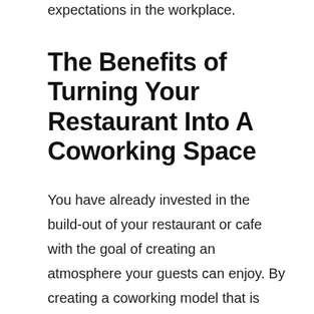expectations in the workplace.
The Benefits of Turning Your Restaurant Into A Coworking Space
You have already invested in the build-out of your restaurant or cafe with the goal of creating an atmosphere your guests can enjoy. By creating a coworking model that is complementary to your operating hours, you can turn your slow hours or closed hours into a source of revenue.